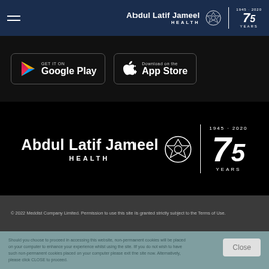[Figure (logo): Abdul Latif Jameel Health logo with 75 Years badge in dark blue header bar]
[Figure (logo): Get it on Google Play button]
[Figure (logo): Download on the App Store button]
[Figure (logo): Abdul Latif Jameel Health large logo with 75 Years badge on black background]
© 2022 Meddist Company Limited. Permission to use this site is granted strictly subject to the Terms of Use.
Should you choose to proceed in accessing this website, non-permanent cookies will be placed on your computer to enhance your experience whilst using the site. If you do not wish to have such non-permanent cookies placed on your computer please exit the site now. Alternatively, please click CLOSE to proceed.